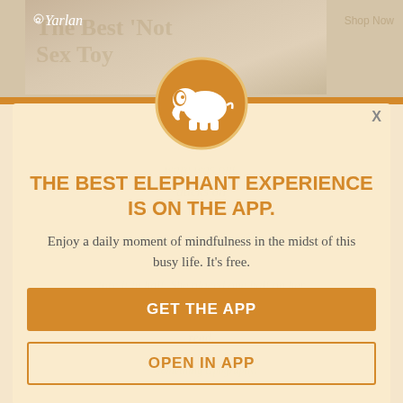[Figure (screenshot): Top portion showing a website with a photo of a person and the Yarlan logo in the upper left. An orange horizontal bar separates it from the modal popup below.]
[Figure (illustration): A circular orange badge with a white elephant silhouette in the center, serving as the app icon for an Elephant mindfulness app.]
X
THE BEST ELEPHANT EXPERIENCE IS ON THE APP.
Enjoy a daily moment of mindfulness in the midst of this busy life. It's free.
GET THE APP
OPEN IN APP